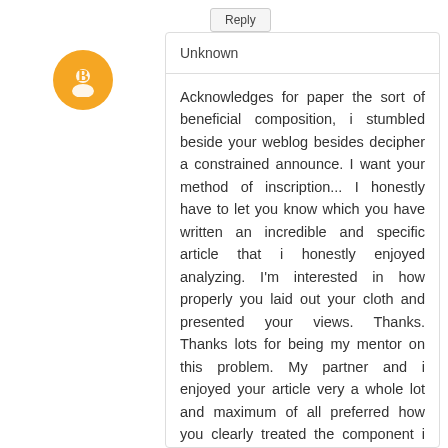Reply
Unknown
Acknowledges for paper the sort of beneficial composition, i stumbled beside your weblog besides decipher a constrained announce. I want your method of inscription... I honestly have to let you know which you have written an incredible and specific article that i honestly enjoyed analyzing. I'm interested in how properly you laid out your cloth and presented your views. Thanks. Thanks lots for being my mentor on this problem. My partner and i enjoyed your article very a whole lot and maximum of all preferred how you clearly treated the component i broadly called debatable. You manifest to be always highly kind to readers in reality like me and assist